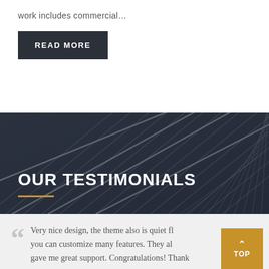work includes commercial…
READ MORE
[Figure (photo): Dark architectural photo showing diagonal structural beams/fins with a dramatic perspective, used as background for testimonials section]
OUR TESTIMONIALS
Very nice design, the theme also is quiet fl... you can customize many features. They al... gave me great support. Congratulations! Thank